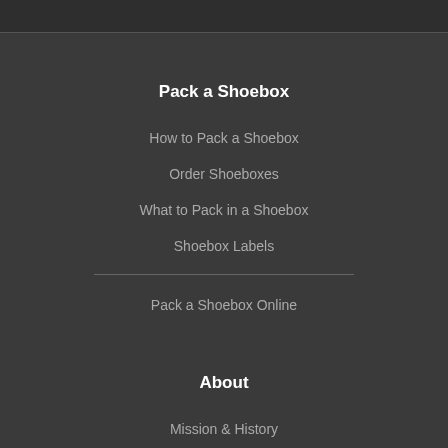Pack a Shoebox
How to Pack a Shoebox
Order Shoeboxes
What to Pack in a Shoebox
Shoebox Labels
Pack a Shoebox Online
About
Mission & History
The Journey of a Shoebox
To the Ends of the Earth